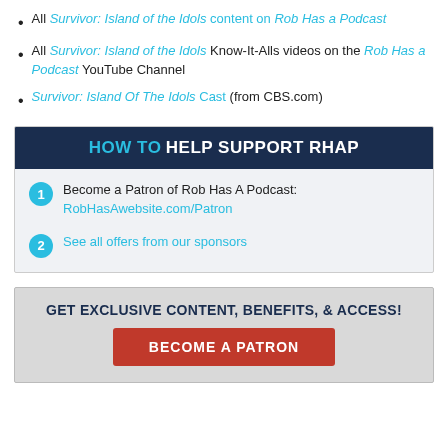All Survivor: Island of the Idols content on Rob Has a Podcast
All Survivor: Island of the Idols Know-It-Alls videos on the Rob Has a Podcast YouTube Channel
Survivor: Island Of The Idols Cast (from CBS.com)
HOW TO HELP SUPPORT RHAP
1. Become a Patron of Rob Has A Podcast: RobHasAwebsite.com/Patron
2. See all offers from our sponsors
GET EXCLUSIVE CONTENT, BENEFITS, & ACCESS!
BECOME A PATRON